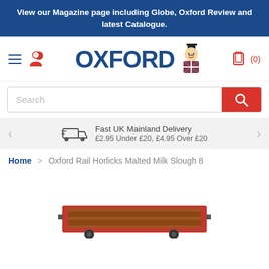View our Magazine page including Globe, Oxford Review and latest Catalogue.
[Figure (screenshot): Oxford brand logo with mascot character (man in top hat with Union Jack waistcoat) and navigation icons including hamburger menu, user icon, and cart showing (0)]
Search
Fast UK Mainland Delivery
£2.95 Under £20, £4.95 Over £20
Home > Oxford Rail Horlicks Malted Milk Slough 8
[Figure (photo): Partial view of Oxford Rail Horlicks Malted Milk Slough 8 model - a red/brown open wagon toy with 'HORL' text partially visible]